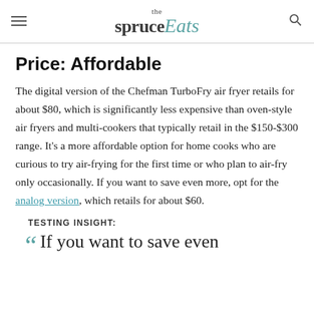the spruce Eats
Price: Affordable
The digital version of the Chefman TurboFry air fryer retails for about $80, which is significantly less expensive than oven-style air fryers and multi-cookers that typically retail in the $150-$300 range. It’s a more affordable option for home cooks who are curious to try air-frying for the first time or who plan to air-fry only occasionally. If you want to save even more, opt for the analog version, which retails for about $60.
TESTING INSIGHT:
If you want to save even